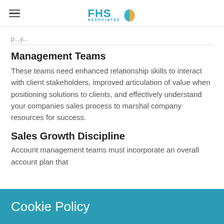FHS Associates
Management Teams
These teams need enhanced relationship skills to interact with client stakeholders, improved articulation of value when positioning solutions to clients, and effectively understand your companies sales process to marshal company resources for success.
Sales Growth Discipline
Account management teams must incorporate an overall account plan that
Cookie Policy